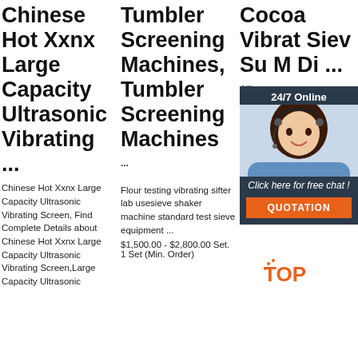Chinese Hot Xxnx Large Capacity Ultrasonic Vibrating ...
Chinese Hot Xxnx Large Capacity Ultrasonic Vibrating Screen, Find Complete Details about Chinese Hot Xxnx Large Capacity Ultrasonic Vibrating Screen,Large Capacity Ultrasonic
Tumbler Screening Machines, Tumbler Screening Machines ...
Flour testing vibrating sifter lab usesieve shaker machine standard test sieve equipment ...
$1,500.00 - $2,800.00 Set. 1 Set (Min. Order)
Cocoa Vibrat Siev Su M Di ...
Alibaba Cocoa Sup Vibrat Siev Manufacturers, Distributors, Factories, Companies. There are 43 OEM, 44 ODM, 15 Self Patent. Find high
[Figure (photo): Chat popup with customer service agent photo, 24/7 Online label, Click here for free chat text, and QUOTATION button]